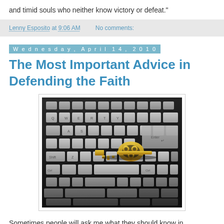and timid souls who neither know victory or defeat."
Lenny Esposito at 9:06 AM   No comments:
Wednesday, April 14, 2010
The Most Important Advice in Defending the Faith
[Figure (photo): A golden ornate key resting on a dark computer keyboard with grey keys]
Sometimes people will ask me what they should know in